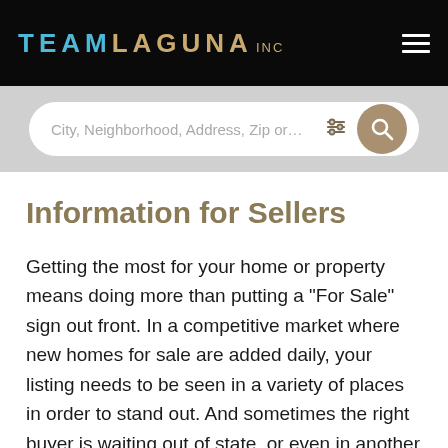TEAMLAGUNA INC
[Figure (screenshot): Search bar with placeholder text: City, Neighborhood, Address, Zip or... with filter icon and search button]
Information for Sellers
Getting the most for your home or property means doing more than putting a "For Sale" sign out front. In a competitive market where new homes for sale are added daily, your listing needs to be seen in a variety of places in order to stand out. And sometimes the right buyer is waiting out of state, or even in another country. To ensure sure your home gets...